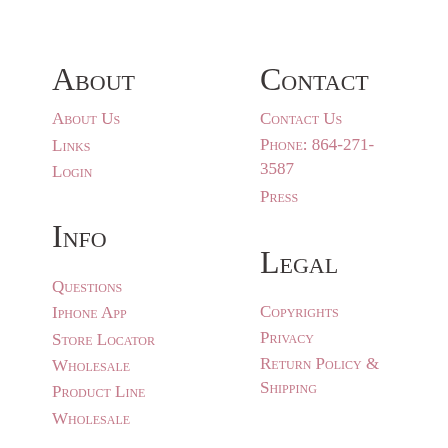About
About Us
Links
Login
Contact
Contact Us
Phone: 864-271-3587
Press
Info
Questions
Iphone App
Store Locator
Wholesale
Product Line
Wholesale
Legal
Copyrights
Privacy
Return Policy & Shipping